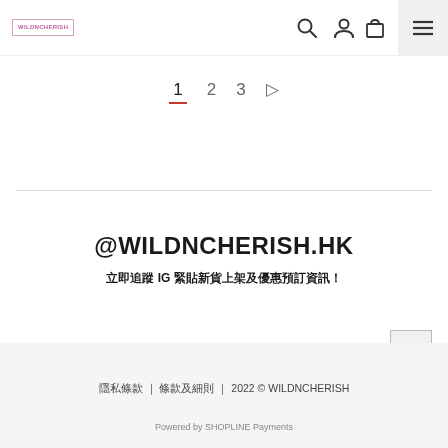WILDNCHERISH logo | search icon | account icon | bag icon | menu
1  2  3  ▷
@WILDNCHERISH.HK
立即追蹤 IG 緊貼新貨上架及優惠預訂資訊！
隱私條款 | 條款及細則 | 2022 © WILDNCHERISH
Powered by SHOPLINE Payments